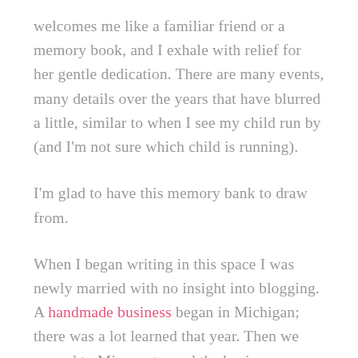welcomes me like a familiar friend or a memory book, and I exhale with relief for her gentle dedication. There are many events, many details over the years that have blurred a little, similar to when I see my child run by (and I'm not sure which child is running).
I'm glad to have this memory bank to draw from.
When I began writing in this space I was newly married with no insight into blogging. A handmade business began in Michigan; there was a lot learned that year. Then we moved to Minnesota, and the business grew five-fold. We lived there for a few years, then one evening, late at night, Zack